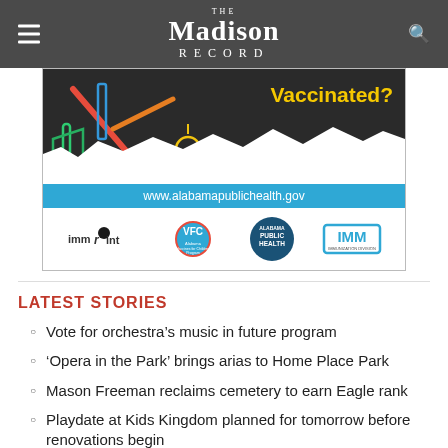The Madison Record
[Figure (infographic): Advertisement banner for Alabama Public Health vaccination program. Dark background with colorful school supply illustrations, bold yellow text 'Vaccinated?', a torn paper effect, blue bar with 'www.alabamapublichealth.gov', and logos for immprint, VFC (Alabama Vaccines for Children Program), Alabama Public Health, and IMM Immunization Division.]
LATEST STORIES
Vote for orchestra’s music in future program
‘Opera in the Park’ brings arias to Home Place Park
Mason Freeman reclaims cemetery to earn Eagle rank
Playdate at Kids Kingdom planned for tomorrow before renovations begin